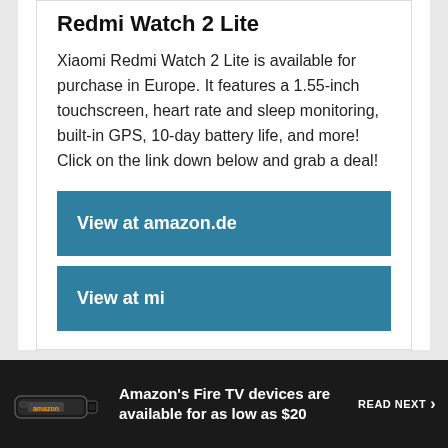Redmi Watch 2 Lite
Xiaomi Redmi Watch 2 Lite is available for purchase in Europe. It features a 1.55-inch touchscreen, heart rate and sleep monitoring, built-in GPS, 10-day battery life, and more! Click on the link down below and grab a deal!
View at amazon.de
View at mi
Amazon's Fire TV devices are available for as low as $20
READ NEXT >